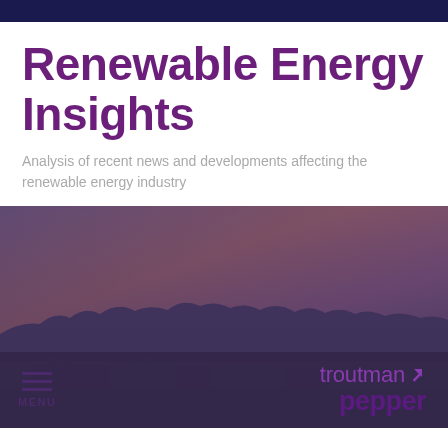Renewable Energy Insights
Analysis of recent news and developments affecting the renewable energy industry
[Figure (photo): Aerial/landscape photo of a solar or industrial facility at dusk/sunset with trees in the background and a purple-orange sky, overlaid with a deep purple-blue tint]
MENU  troutman pepper